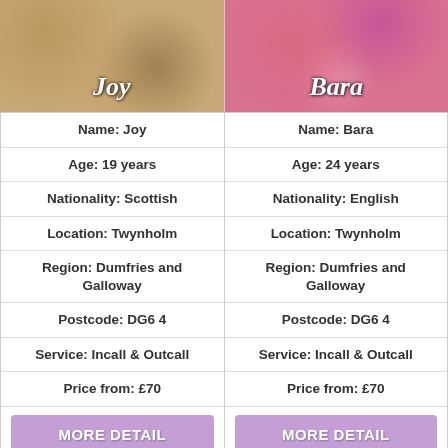[Figure (photo): Photo of Joy - woman with decorative background]
[Figure (photo): Photo of Bara - woman in floral outfit]
| Joy | Bara |
| --- | --- |
| Name: Joy | Name: Bara |
| Age: 19 years | Age: 24 years |
| Nationality: Scottish | Nationality: English |
| Location: Twynholm | Location: Twynholm |
| Region: Dumfries and Galloway | Region: Dumfries and Galloway |
| Postcode: DG6 4 | Postcode: DG6 4 |
| Service: Incall & Outcall | Service: Incall & Outcall |
| Price from: £70 | Price from: £70 |
| MORE DETAIL | MORE DETAIL |
[Figure (photo): Partial photo at bottom left - dark background]
[Figure (photo): Partial photo at bottom right - warm tones]